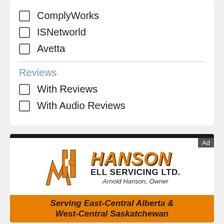ComplyWorks
ISNetworld
Avetta
Reviews
With Reviews
With Audio Reviews
[Figure (logo): Hanson Well Servicing Ltd. advertisement with orange and black HW logo, company name, owner Arnold Hanson, and orange banner reading Serving East-Central Alberta & West-Central Saskatchewan]